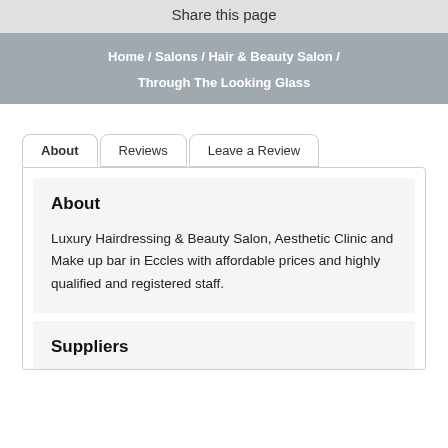Share this page
Home / Salons / Hair & Beauty Salon / Through The Looking Glass
About  Reviews  Leave a Review
About
Luxury Hairdressing & Beauty Salon, Aesthetic Clinic and Make up bar in Eccles with affordable prices and highly qualified and registered staff.
Suppliers